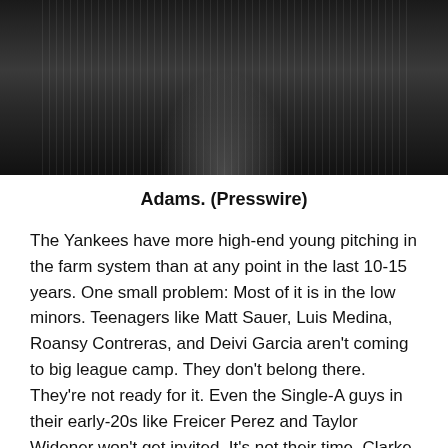[Figure (photo): Photo of a Yankees pitcher in pinstripe uniform, partially cropped, showing torso and arms with a glove visible]
Adams. (Presswire)
The Yankees have more high-end young pitching in the farm system than at any point in the last 10-15 years. One small problem: Most of it is in the low minors. Teenagers like Matt Sauer, Luis Medina, Roansy Contreras, and Deivi Garcia aren't coming to big league camp. They don't belong there. They're not ready for it. Even the Single-A guys in their early-20s like Freicer Perez and Taylor Widener won't get invited. It's not their time. Clarke Schmidt, last year's first round pick, is still rehabbing from Tommy John surgery, so he won't get a non-roster invite. There's no